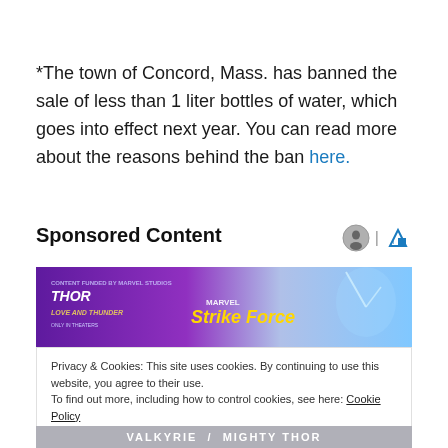*The town of Concord, Mass. has banned the sale of less than 1 liter bottles of water, which goes into effect next year. You can read more about the reasons behind the ban here.
Sponsored Content
[Figure (illustration): Marvel Strike Force Thor Love and Thunder promotional banner ad with purple and blue glowing background, characters visible]
Privacy & Cookies: This site uses cookies. By continuing to use this website, you agree to their use.
To find out more, including how to control cookies, see here: Cookie Policy
Close and accept
VALKYRIE / MIGHTY THOR